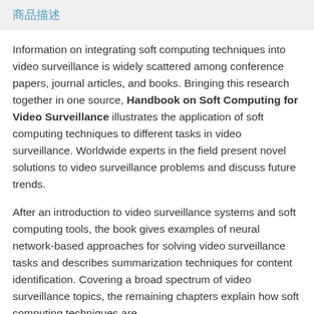商品描述
Information on integrating soft computing techniques into video surveillance is widely scattered among conference papers, journal articles, and books. Bringing this research together in one source, Handbook on Soft Computing for Video Surveillance illustrates the application of soft computing techniques to different tasks in video surveillance. Worldwide experts in the field present novel solutions to video surveillance problems and discuss future trends.
After an introduction to video surveillance systems and soft computing tools, the book gives examples of neural network-based approaches for solving video surveillance tasks and describes summarization techniques for content identification. Covering a broad spectrum of video surveillance topics, the remaining chapters explain how soft computing techniques are used to detect, recognize, and track objects and...